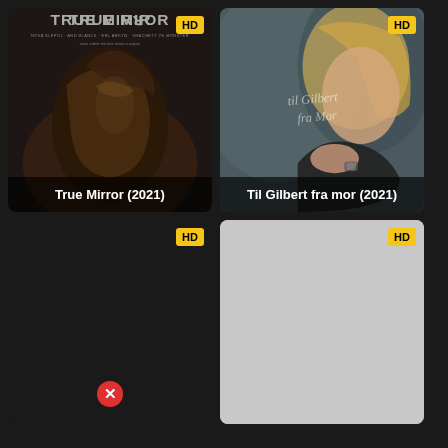[Figure (screenshot): Movie poster for True Mirror (2021) with HD badge in top-right corner and title overlay at bottom]
[Figure (screenshot): Movie poster for Til Gilbert fra mor (2021) showing a woman with clasped hands, HD badge in top-right corner and title overlay at bottom]
[Figure (screenshot): Dark card with HD badge, partially loaded movie poster with a red X error icon at the bottom center]
[Figure (screenshot): Light gray placeholder card with HD badge in top-right corner, image not loaded]